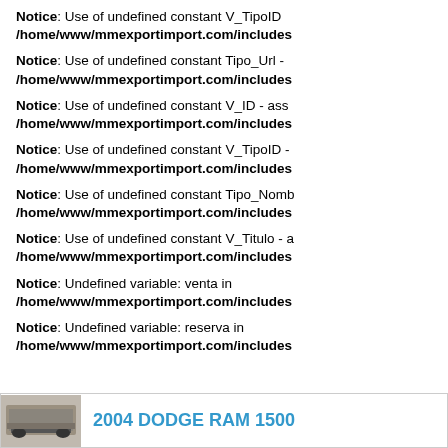Notice: Use of undefined constant V_TipoID - /home/www/mmexportimport.com/includes
Notice: Use of undefined constant Tipo_Url - /home/www/mmexportimport.com/includes
Notice: Use of undefined constant V_ID - ass /home/www/mmexportimport.com/includes
Notice: Use of undefined constant V_TipoID - /home/www/mmexportimport.com/includes
Notice: Use of undefined constant Tipo_Nomb /home/www/mmexportimport.com/includes
Notice: Use of undefined constant V_Titulo - a /home/www/mmexportimport.com/includes
Notice: Undefined variable: venta in /home/www/mmexportimport.com/includes
Notice: Undefined variable: reserva in /home/www/mmexportimport.com/includes
[Figure (photo): Screenshot of a web page showing PHP notice errors and a partial vehicle listing for a 2004 Dodge RAM 1500]